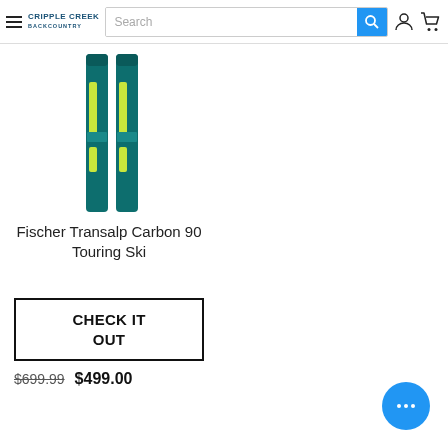Cripple Creek Backcountry — Search bar with search button, account icon, cart icon
[Figure (photo): Two Fischer Transalp Carbon 90 Touring Skis standing vertically — teal/green color with yellow-green accents]
Fischer Transalp Carbon 90 Touring Ski
CHECK IT OUT
$699.99  $499.00